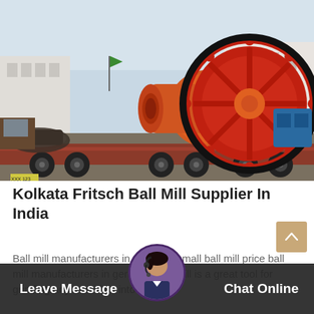[Figure (photo): Large orange industrial ball mill mounted on a flatbed truck/trailer in a factory yard. The ball mill is cylindrical with a large red gear wheel on one end and an orange cylindrical body. Additional industrial equipment including a blue machine visible in background. Industrial buildings visible.]
Kolkata Fritsch Ball Mill Supplier In India
Ball mill manufacturers in germany small ball mill price ball mill manufacturers in germany ball mill is a great tool for grinding any materials into fine...